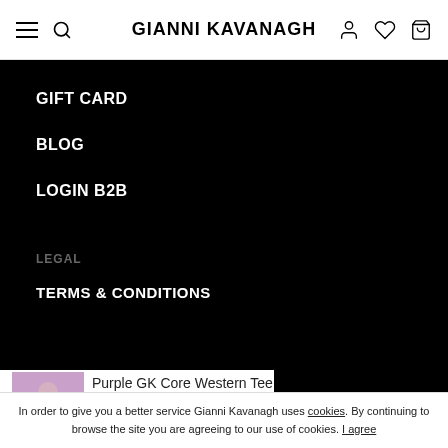GIANNI KAVANAGH
GIFT CARD
BLOG
LOGIN B2B
LEGAL
TERMS & CONDITIONS
[Figure (photo): Purple GK Core Western Tee product photo - woman wearing purple t-shirt and black pants]
Purple GK Core Western Tee €13.75 €27.50
ADD TO CART
In order to give you a better service Gianni Kavanagh uses cookies. By continuing to browse the site you are agreeing to our use of cookies. I agree